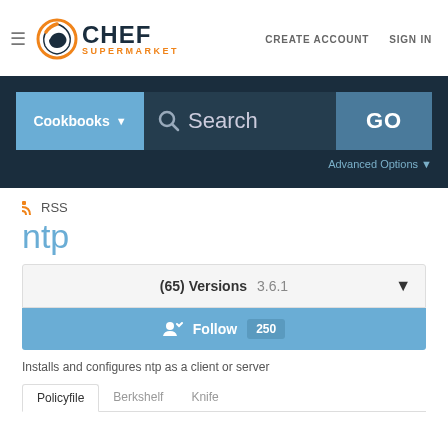[Figure (logo): Chef Supermarket logo with orange gear/C icon and text CHEF SUPERMARKET]
CREATE ACCOUNT   SIGN IN
[Figure (screenshot): Search bar with Cookbooks dropdown, Search input, and GO button on dark navy background]
Advanced Options
RSS
ntp
(65) Versions   3.6.1
Follow  250
Installs and configures ntp as a client or server
Policyfile   Berkshelf   Knife